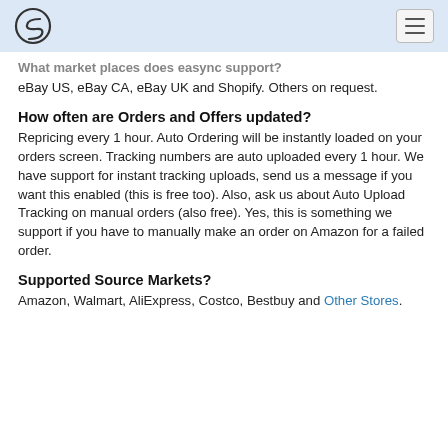[Logo] [Hamburger menu]
What market places does easync support?
eBay US, eBay CA, eBay UK and Shopify. Others on request.
How often are Orders and Offers updated?
Repricing every 1 hour. Auto Ordering will be instantly loaded on your orders screen. Tracking numbers are auto uploaded every 1 hour. We have support for instant tracking uploads, send us a message if you want this enabled (this is free too). Also, ask us about Auto Upload Tracking on manual orders (also free). Yes, this is something we support if you have to manually make an order on Amazon for a failed order.
Supported Source Markets?
Amazon, Walmart, AliExpress, Costco, Bestbuy and Other Stores.